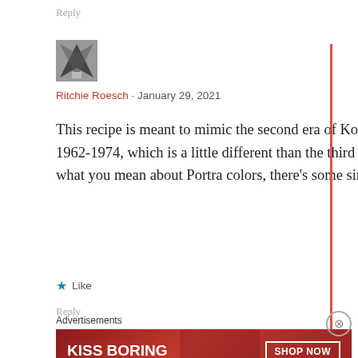Reply
[Figure (photo): User avatar photo — dark/monochrome image with X shape]
Ritchie Roesch · January 29, 2021
This recipe is meant to mimic the second era of Kodachrome from 1962-1974, which is a little different than the third era. But I can see what you mean about Portra colors, there's some similarities for sure.
Like
Reply
Advertisements
[Figure (photo): Macy's advertisement banner: KISS BORING LIPS GOODBYE with SHOP NOW and Macy's star logo, red background with woman's lips]